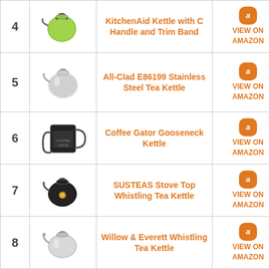| # | Image | Product Name | Link |
| --- | --- | --- | --- |
| 4 | [kettle image] | KitchenAid Kettle with C Handle and Trim Band | VIEW ON AMAZON |
| 5 | [kettle image] | All-Clad E86199 Stainless Steel Tea Kettle | VIEW ON AMAZON |
| 6 | [kettle image] | Coffee Gator Gooseneck Kettle | VIEW ON AMAZON |
| 7 | [kettle image] | SUSTEAS Stove Top Whistling Tea Kettle | VIEW ON AMAZON |
| 8 | [kettle image] | Willow & Everett Whistling Tea Kettle | VIEW ON AMAZON |
| 9 | [kettle image] | Chef's Secret Quart T- | VIEW ON AMAZON |